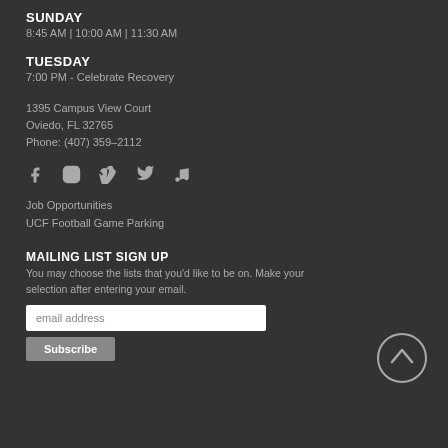SUNDAY
8:45 AM | 10:00 AM | 11:30 AM
TUESDAY
7:00 PM - Celebrate Recovery
1395 Campus View Court
Oviedo, FL 32765
Phone: (407) 359–2112
[Figure (infographic): Row of social media icons: Facebook, Instagram, Vimeo, Twitter, Music/iTunes]
Job Opportunities
UCF Football Game Parking
MAILING LIST SIGN UP
You may choose the lists that you'd like to be on. Make your selection after entering your email.
email address [input field] Subscribe [button]
[Figure (illustration): Circular up-arrow button (scroll to top)]